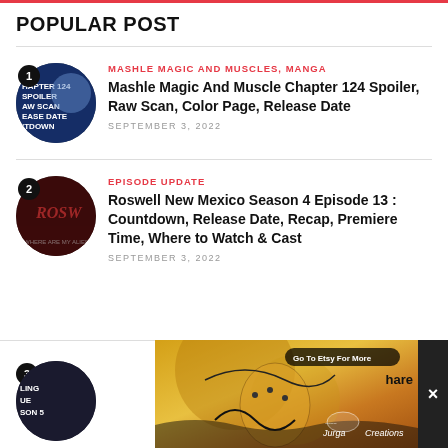POPULAR POST
1. MASHLE MAGIC AND MUSCLES, MANGA — Mashle Magic And Muscle Chapter 124 Spoiler, Raw Scan, Color Page, Release Date — SEPTEMBER 3, 2022
2. EPISODE UPDATE — Roswell New Mexico Season 4 Episode 13 : Countdown, Release Date, Recap, Premiere Time, Where to Watch & Cast — SEPTEMBER 3, 2022
3. Cancelled: Killing Eve Season 5 Release...
[Figure (advertisement): Ad overlay: Etsy art ad by Jurga Creations showing golden decorative face artwork with 'Go To Etsy For More' button and Jurga Creations logo]